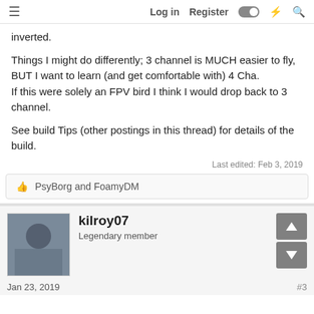Log in  Register
inverted.
Things I might do differently; 3 channel is MUCH easier to fly, BUT I want to learn (and get comfortable with) 4 Cha.
If this were solely an FPV bird I think I would drop back to 3 channel.
See build Tips (other postings in this thread) for details of the build.
Last edited: Feb 3, 2019
👍 PsyBorg and FoamyDM
kilroy07
Legendary member
Jan 23, 2019
#3